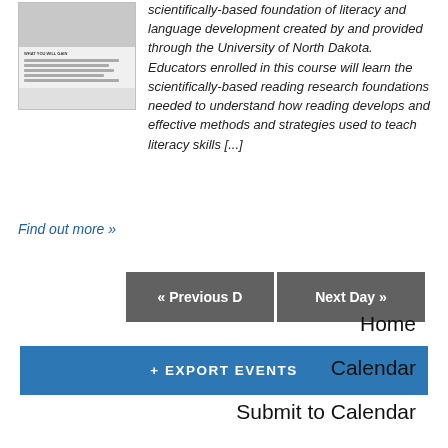[Figure (screenshot): Thumbnail image of a course flyer or document with photos and bullet points about what you will gain]
scientifically-based foundation of literacy and language development created by and provided through the University of North Dakota. Educators enrolled in this course will learn the scientifically-based reading research foundations needed to understand how reading develops and effective methods and strategies used to teach literacy skills [...]
Find out more »
« Previous D
Next Day »
+ EXPORT EVENTS
Home
Calendar
Submit to Calendar